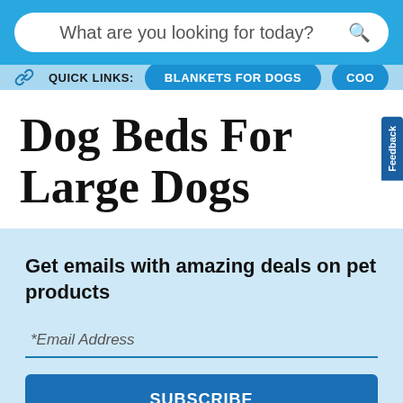What are you looking for today? 🔍
QUICK LINKS: BLANKETS FOR DOGS COO...
Dog Beds For Large Dogs
Feedback
Get emails with amazing deals on pet products
*Email Address
SUBSCRIBE